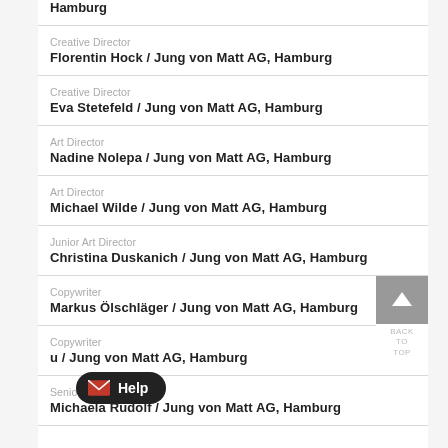Hamburg
Creative Director
Florentin Hock / Jung von Matt AG, Hamburg
Creative Director
Eva Stetefeld / Jung von Matt AG, Hamburg
Art Director
Nadine Nolepa / Jung von Matt AG, Hamburg
Art Director
Michael Wilde / Jung von Matt AG, Hamburg
Junior Art Director
Christina Duskanich / Jung von Matt AG, Hamburg
Copywriter
Markus Ölschläger / Jung von Matt AG, Hamburg
Copywriter
[...] / Jung von Matt AG, Hamburg
Senior Project Manager
Michaela Rudolf / Jung von Matt AG, Hamburg